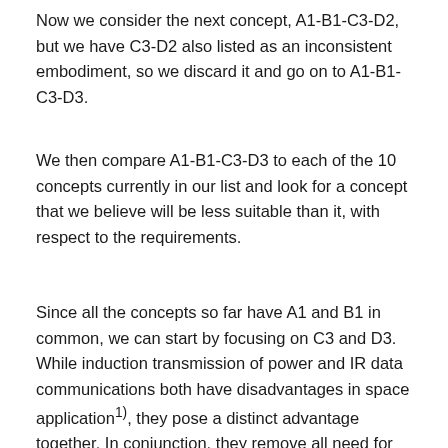Now we consider the next concept, A1-B1-C3-D2, but we have C3-D2 also listed as an inconsistent embodiment, so we discard it and go on to A1-B1-C3-D3.
We then compare A1-B1-C3-D3 to each of the 10 concepts currently in our list and look for a concept that we believe will be less suitable than it, with respect to the requirements.
Since all the concepts so far have A1 and B1 in common, we can start by focusing on C3 and D3. While induction transmission of power and IR data communications both have disadvantages in space application¹⁾, they pose a distinct advantage together. In conjunction, they remove all need for direct fixed connections between the robot